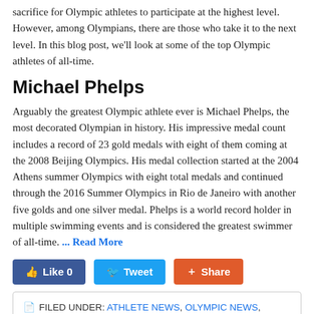sacrifice for Olympic athletes to participate at the highest level. However, among Olympians, there are those who take it to the next level. In this blog post, we'll look at some of the top Olympic athletes of all-time.
Michael Phelps
Arguably the greatest Olympic athlete ever is Michael Phelps, the most decorated Olympian in history. His impressive medal count includes a record of 23 gold medals with eight of them coming at the 2008 Beijing Olympics. His medal collection started at the 2004 Athens summer Olympics with eight total medals and continued through the 2016 Summer Olympics in Rio de Janeiro with another five golds and one silver medal. Phelps is a world record holder in multiple swimming events and is considered the greatest swimmer of all-time. ... Read More
Like 0  Tweet  Share
FILED UNDER: ATHLETE NEWS, OLYMPIC NEWS, SPORTS SPEAKER NEWS  TAGGED WITH: 1992 OLYMPIC DREAM TEAM, CARL LEWIS, JESSE OWENS, LARISA LATYNINA, MARK SPITZ, MICHAEL PHELPS, NIKOLAY ANDRIANOV, USAIN BOLT